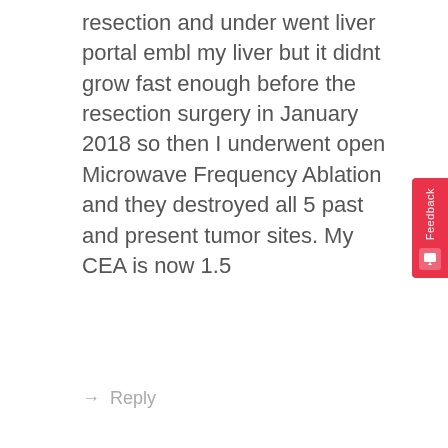resection and under went liver portal embl my liver but it didnt grow fast enough before the resection surgery in January 2018 so then I underwent open Microwave Frequency Ablation and they destroyed all 5 past and present tumor sites. My CEA is now 1.5
→ Reply